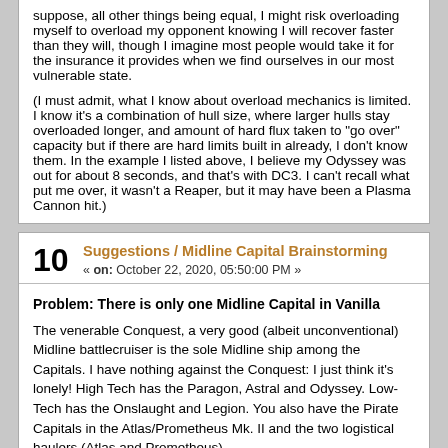suppose, all other things being equal, I might risk overloading myself to overload my opponent knowing I will recover faster than they will, though I imagine most people would take it for the insurance it provides when we find ourselves in our most vulnerable state.

(I must admit, what I know about overload mechanics is limited. I know it's a combination of hull size, where larger hulls stay overloaded longer, and amount of hard flux taken to "go over" capacity but if there are hard limits built in already, I don't know them. In the example I listed above, I believe my Odyssey was out for about 8 seconds, and that's with DC3. I can't recall what put me over, it wasn't a Reaper, but it may have been a Plasma Cannon hit.)
10
Suggestions / Midline Capital Brainstorming
« on: October 22, 2020, 05:50:00 PM »
Problem: There is only one Midline Capital in Vanilla
The venerable Conquest, a very good (albeit unconventional) Midline battlecruiser is the sole Midline ship among the Capitals. I have nothing against the Conquest: I just think it's lonely! High Tech has the Paragon, Astral and Odyssey. Low-Tech has the Onslaught and Legion. You also have the Pirate Capitals in the Atlas/Prometheus Mk. II and the two logistical haulers (Atlas and Prometheus).
Solution: Add a Midline Capital
Of course, the question is: what would a new Midline Capital